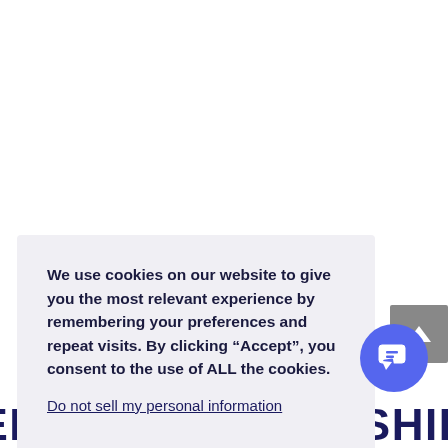We use cookies on our website to give you the most relevant experience by remembering your preferences and repeat visits. By clicking “Accept”, you consent to the use of ALL the cookies.
Do not sell my personal information.
Cookie Settings
Accept
ENTREPRENEURSHIP